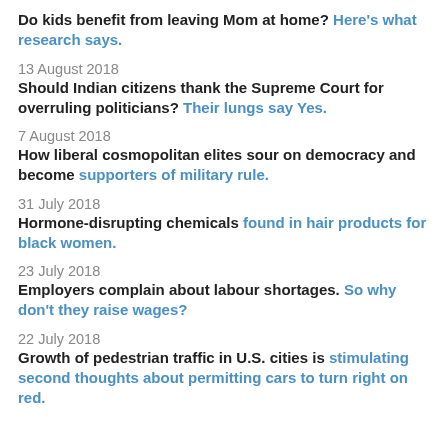Do kids benefit from leaving Mom at home? Here's what research says.
13 August 2018
Should Indian citizens thank the Supreme Court for overruling politicians? Their lungs say Yes.
7 August 2018
How liberal cosmopolitan elites sour on democracy and become supporters of military rule.
31 July 2018
Hormone-disrupting chemicals found in hair products for black women.
23 July 2018
Employers complain about labour shortages. So why don't they raise wages?
22 July 2018
Growth of pedestrian traffic in U.S. cities is stimulating second thoughts about permitting cars to turn right on red.